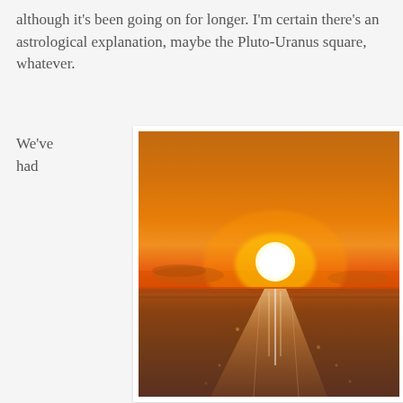although it's been going on for longer. I'm certain there's an astrological explanation, maybe the Pluto-Uranus square, whatever.
We've had
[Figure (photo): A sunset over the ocean. The sun is setting near the horizon, casting a bright orange and golden glow across the sky and reflecting a shimmering path of light on the calm sea water.]